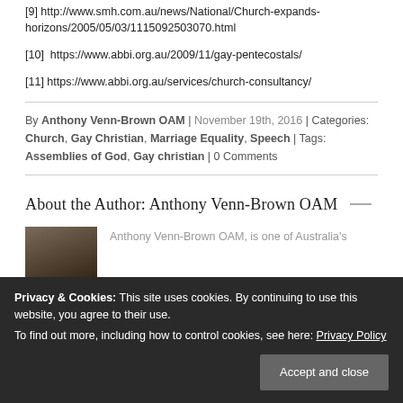[9] http://www.smh.com.au/news/National/Church-expands-horizons/2005/05/03/1115092503070.html
[10]  https://www.abbi.org.au/2009/11/gay-pentecostals/
[11] https://www.abbi.org.au/services/church-consultancy/
By Anthony Venn-Brown OAM | November 19th, 2016 | Categories: Church, Gay Christian, Marriage Equality, Speech | Tags: Assemblies of God, Gay christian | 0 Comments
About the Author: Anthony Venn-Brown OAM
[Figure (photo): Portrait photo of Anthony Venn-Brown OAM]
Anthony Venn-Brown OAM, is one of Australia's
conversion therapy, becoming a married, high-profile preacher
Privacy & Cookies: This site uses cookies. By continuing to use this website, you agree to their use. To find out more, including how to control cookies, see here: Privacy Policy